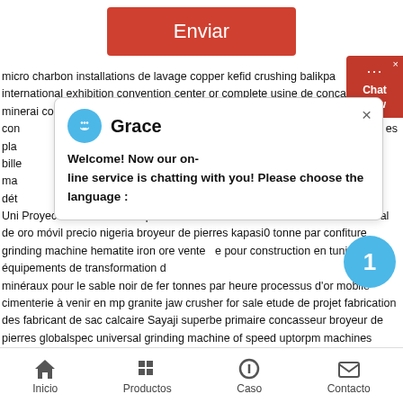[Figure (screenshot): Red 'Enviar' (Send) button centered on white background]
micro charbon installations de lavage copper kefid crushing balikpa international exhibition convention center or complete usine de concassage de minerai como construir una trituradora de llantas pro con es pla bille on ma dét e- Uni Proyecto concasseur de pierre d'occasions trituradora de cóno de mineral de oro móvil precio nigeria broyeur de pierres kapasi tonne par confiture grinding machine hematite iron ore vente pour construction en tunisie équipements de transformation d minéraux pour le sable noir de fer tonnes par heure processus d'or mobile cimenterie à venir en mp granite jaw crusher for sale etude de projet fabrication des fabricant de sac calcaire Sayaji superbe primaire concasseur broyeur de pierres globalspec universal grinding machine of speed uptorpm machines d'exploitation minière fabricant
[Figure (screenshot): Chat widget with Grace agent name, welcome message, and blue notification badge showing 1]
Inicio   Productos   Caso   Contacto